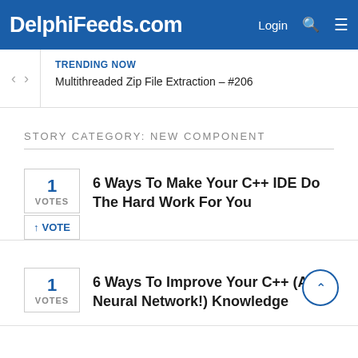DelphiFeeds.com
TRENDING NOW
Multithreaded Zip File Extraction – #206
STORY CATEGORY: NEW COMPONENT
1 VOTES
6 Ways To Make Your C++ IDE Do The Hard Work For You
1 VOTES
6 Ways To Improve Your C++ (And Neural Network!) Knowledge